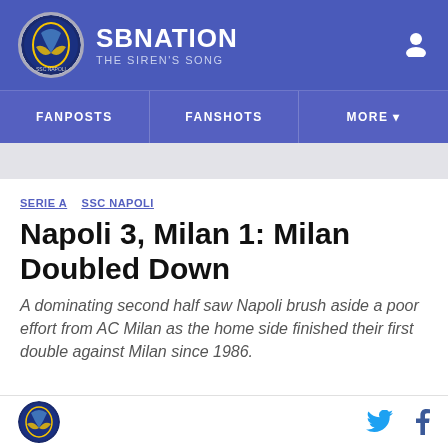SBNation — THE SIREN'S SONG
FANPOSTS  FANSHOTS  MORE
SERIE A  SSC NAPOLI
Napoli 3, Milan 1: Milan Doubled Down
A dominating second half saw Napoli brush aside a poor effort from AC Milan as the home side finished their first double against Milan since 1986.